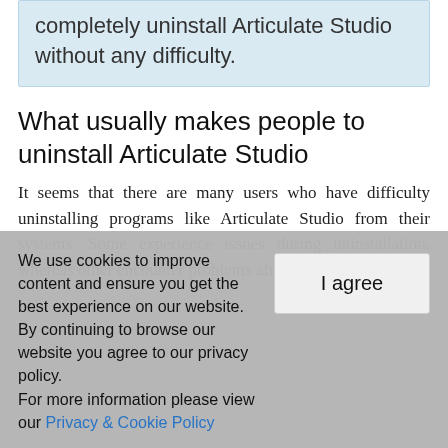This guide is the right solution to completely uninstall Articulate Studio without any difficulty.
What usually makes people to uninstall Articulate Studio
It seems that there are many users who have difficulty uninstalling programs like Articulate Studio from their systems. Some experience issues during uninstallation, whereas other encounter problems after the program is
We use cookies to improve content and ensure you get the best experience on our website. By continuing to browse our website you agree to our privacy policy. For more information please view our Privacy & Cookie Policy
I agree